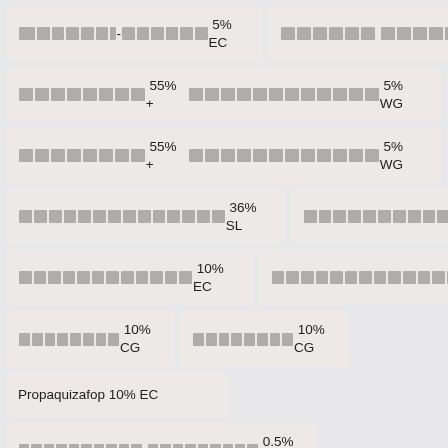████-██████████ 5% EC
██████ ████████ 98%
████████ 55% + ███████████████████ 5% WG
████████ 55% + ███████████████████ 5% WG
█████████████████ 36% SL
█████████████████ 36% SL
████████████████ 10% EC
██████████████████ 80% WP
██████████ 10% CG
██████████ 10% CG
Propaquizafop 10% EC
████████████ ███████████ 0.5% WP